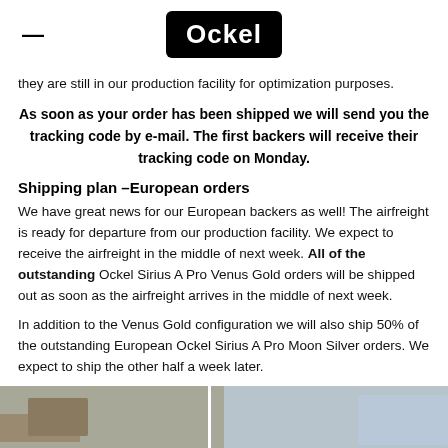Ockel
they are still in our production facility for optimization purposes.
As soon as your order has been shipped we will send you the tracking code by e-mail. The first backers will receive their tracking code on Monday.
Shipping plan –European orders
We have great news for our European backers as well! The airfreight is ready for departure from our production facility. We expect to receive the airfreight in the middle of next week. All of the outstanding Ockel Sirius A Pro Venus Gold orders will be shipped out as soon as the airfreight arrives in the middle of next week.
In addition to the Venus Gold configuration we will also ship 50% of the outstanding European Ockel Sirius A Pro Moon Silver orders. We expect to ship the other half a week later.
[Figure (photo): Photo of boxes and packaging materials in a warehouse/shipping facility, split into two panels]